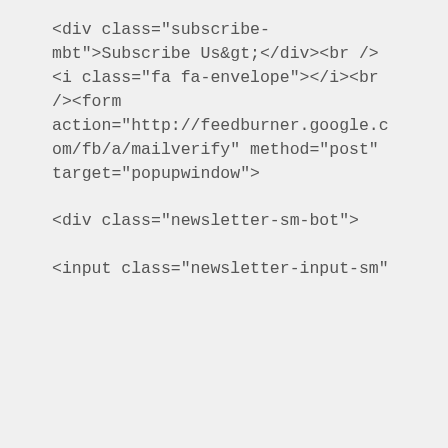<div class="subscribe-mbt">Subscribe Us&gt;</div><br />
<i class="fa fa-envelope"></i><br
/><form
action="http://feedburner.google.com/fb/a/mailverify" method="post"
onsubmit="window.open('http://feedburner.google.com/fb/a/mailverify?uri=tntbystc', 'popupwindow',
'scrollbars=yes,width=550,height=520');return true"
target="popupwindow">

<div class="newsletter-sm-bot">

<input class="newsletter-input-sm"